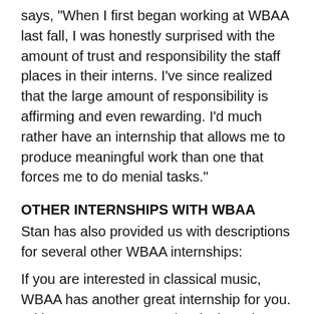says, "When I first began working at WBAA last fall, I was honestly surprised with the amount of trust and responsibility the staff places in their interns. I've since realized that the large amount of responsibility is affirming and even rewarding. I'd much rather have an internship that allows me to produce meaningful work than one that forces me to do menial tasks."
OTHER INTERNSHIPS WITH WBAA
Stan has also provided us with descriptions for several other WBAA internships:
If you are interested in classical music, WBAA has another great internship for you. With 101.3 FM, WBAA Classical, students aid in the station's programming as well as taping interviews. This internship is a great opportunity for those interested in learning about media management.
If you are tech-savvy, on the other hand, WBAA offers